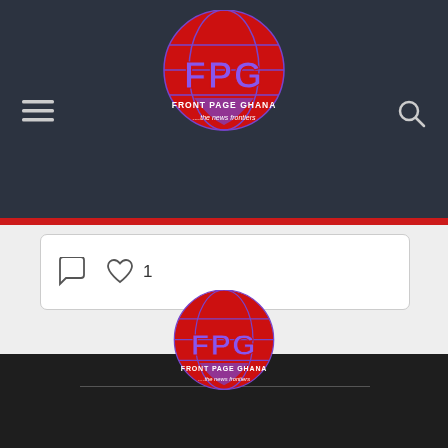[Figure (logo): Front Page Ghana (FPG) logo — red circle with purple globe, purple FPG letters, white text FRONT PAGE GHANA ....the news frontiers — displayed in dark navy header bar]
[Figure (screenshot): Social media card with comment icon and heart/like icon with count 1]
[Figure (logo): Front Page Ghana (FPG) logo — red circle with purple globe, purple FPG letters, white text FRONT PAGE GHANA ....the news frontiers — displayed in dark footer area]